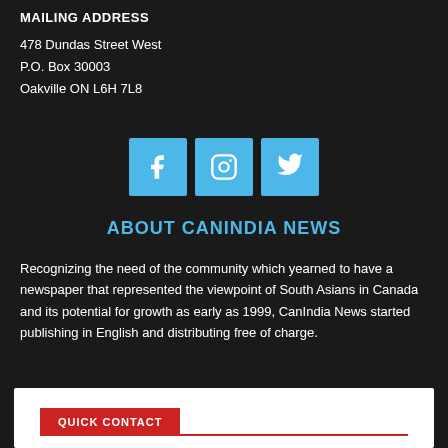MAILING ADDRESS
478 Dundas Street West
P.O. Box 30003
Oakville ON L6H 7L8
[Figure (infographic): Three social media icons: Facebook, Instagram, Twitter, in blue square buttons]
ABOUT CANINDIA NEWS
Recognizing the need of the community which yearned to have a newspaper that represented the viewpoint of South Asians in Canada and its potential for growth as early as 1999, CanIndia News started publishing in English and distributing free of charge.
QUICK CONTACT